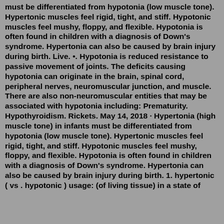must be differentiated from hypotonia (low muscle tone). Hypertonic muscles feel rigid, tight, and stiff. Hypotonic muscles feel mushy, floppy, and flexible. Hypotonia is often found in children with a diagnosis of Down's syndrome. Hypertonia can also be caused by brain injury during birth. Live. •. Hypotonia is reduced resistance to passive movement of joints. The deficits causing hypotonia can originate in the brain, spinal cord, peripheral nerves, neuromuscular junction, and muscle. There are also non-neuromuscular entities that may be associated with hypotonia including: Prematurity. Hypothyroidism. Rickets. May 14, 2018 · Hypertonia (high muscle tone) in infants must be differentiated from hypotonia (low muscle tone). Hypertonic muscles feel rigid, tight, and stiff. Hypotonic muscles feel mushy, floppy, and flexible. Hypotonia is often found in children with a diagnosis of Down's syndrome. Hypertonia can also be caused by brain injury during birth. 1. hypertonic ( vs . hypotonic ) usage: (of living tissue) in a state of